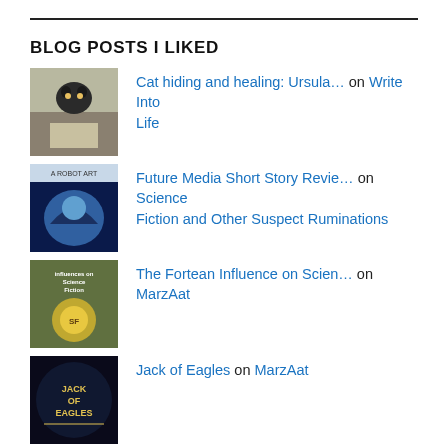BLOG POSTS I LIKED
Cat hiding and healing: Ursula… on Write Into Life
Future Media Short Story Revie… on Science Fiction and Other Suspect Ruminations
The Fortean Influence on Scien… on MarzAat
Jack of Eagles on MarzAat
Book Review: The Falling Astro… on Science Fiction and Other Suspect Ruminations
Future Media Short Story Revie… on Science